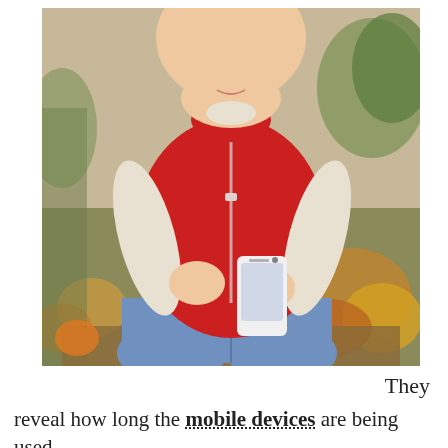[Figure (photo): A chubby child wearing a red puffer vest over a cream long-sleeve shirt and blue jeans sits outdoors on a wooden surface, holding and looking at a white smartphone. Background shows autumn foliage and greenery.]
They reveal how long the mobile devices are being used, how often apps are being used, and which websites